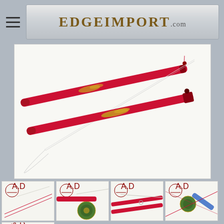EDGEIMPORT.com
[Figure (photo): Red samurai katana sword with gold dragon design on scabbard, shown with blade partially drawn, on white background]
[Figure (photo): Thumbnail 1: Red katana sword full view]
[Figure (photo): Thumbnail 2: Close-up of red scabbard with gold tsuba guard]
[Figure (photo): Thumbnail 3: Close-up of red blade and handle]
[Figure (photo): Thumbnail 4: Close-up of handle and guard with blue/white wrapping]
[Figure (photo): Thumbnail 5 (partial): Red katana sword view]